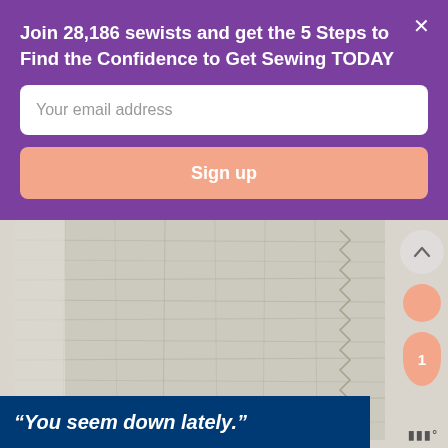Join 28,186 sewists and get the 5 Steps to Find the Confidence to Get Sewing TODAY
Your email address
Sign up
[Figure (photo): Close-up photograph of a piece of linen or muslin fabric with zigzag stitching visible along one edge, placed on a light background.]
“You seem down lately.”